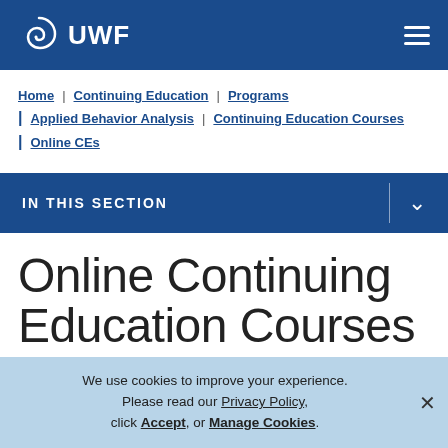UWF
Home | Continuing Education | Programs
Applied Behavior Analysis | Continuing Education Courses
Online CEs
IN THIS SECTION
Online Continuing Education Courses
We use cookies to improve your experience. Please read our Privacy Policy, click Accept, or Manage Cookies.